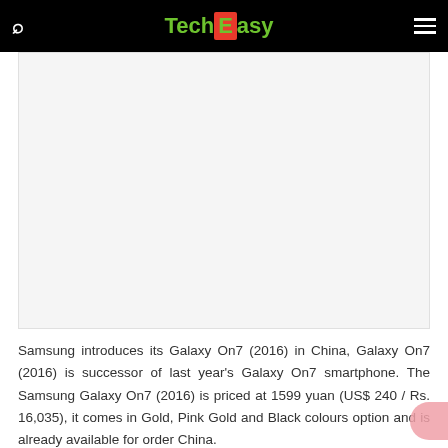TechEasy
[Figure (other): Advertisement/blank image area]
Samsung introduces its Galaxy On7 (2016) in China, Galaxy On7 (2016) is successor of last year's Galaxy On7 smartphone. The Samsung Galaxy On7 (2016) is priced at 1599 yuan (US$ 240 / Rs. 16,035), it comes in Gold, Pink Gold and Black colours option and is already available for order China.